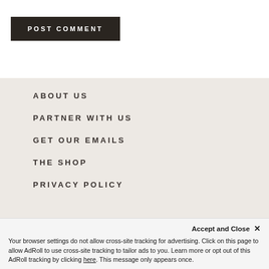[Figure (other): POST COMMENT button — dark background with white uppercase text]
ABOUT US
PARTNER WITH US
GET OUR EMAILS
THE SHOP
PRIVACY POLICY
Accept and Close ×
Your browser settings do not allow cross-site tracking for advertising. Click on this page to allow AdRoll to use cross-site tracking to tailor ads to you. Learn more or opt out of this AdRoll tracking by clicking here. This message only appears once.